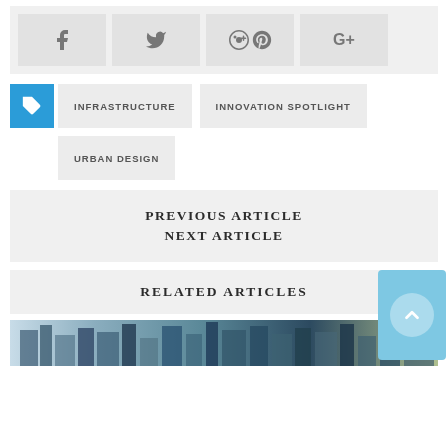[Figure (infographic): Social share buttons: Facebook, Twitter, Pinterest, Google+]
INFRASTRUCTURE
INNOVATION SPOTLIGHT
URBAN DESIGN
PREVIOUS ARTICLE
NEXT ARTICLE
RELATED ARTICLES
[Figure (photo): Aerial view of city buildings / urban landscape]